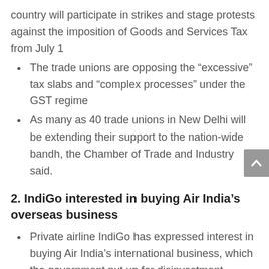country will participate in strikes and stage protests against the imposition of Goods and Services Tax from July 1
The trade unions are opposing the “excessive” tax slabs and “complex processes” under the GST regime
As many as 40 trade unions in New Delhi will be extending their support to the nation-wide bandh, the Chamber of Trade and Industry said.
2. IndiGo interested in buying Air India’s overseas business
Private airline IndiGo has expressed interest in buying Air India’s international business, which the government put up for disinvestment yesterday
Civil Aviation Secretary Rajiv Nayan Choubey confirmed the news. IndiGo has a 40% market share